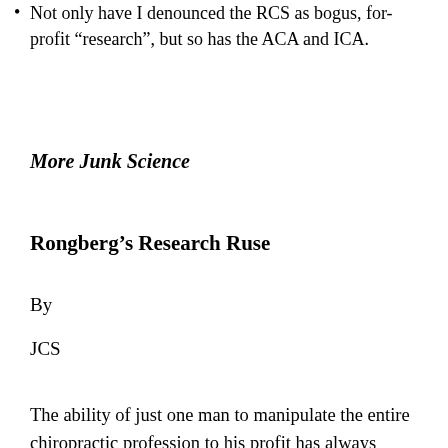Not only have I denounced the RCS as bogus, for-profit “research”, but so has the ACA and ICA.
More Junk Science
Rongberg’s Research Ruse
By
JCS
The ability of just one man to manipulate the entire chiropractic profession to his profit has always amazed me. Since this profession has no vertical chain of command with oversight abilities, we’ve